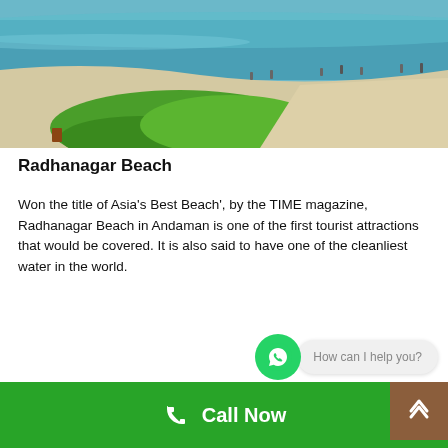[Figure (photo): Aerial/ground view of Radhanagar Beach, Andaman — white sand beach with green coastal vegetation in the foreground, turquoise ocean waves and people walking on the beach in the background.]
Radhanagar Beach
Won the title of Asia's Best Beach', by the TIME magazine, Radhanagar Beach in Andaman is one of the first tourist attractions that would be covered. It is also said to have one of the cleanliest water in the world.
[Figure (photo): Partial view of another beach scene with blue sky and trees, cropped at bottom of page.]
[Figure (other): WhatsApp chat bubble with text 'How can I help you?']
Call Now